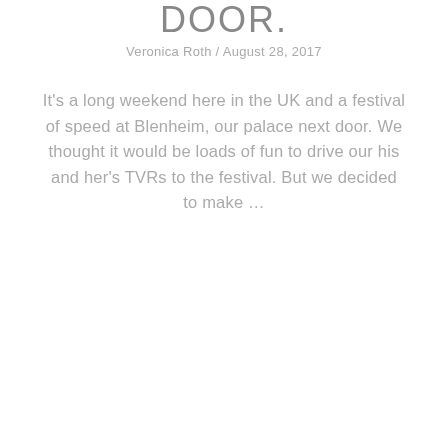DOOR.
Veronica Roth / August 28, 2017
It's a long weekend here in the UK and a festival of speed at Blenheim, our palace next door. We thought it would be loads of fun to drive our his and her's TVRs to the festival. But we decided to make ...